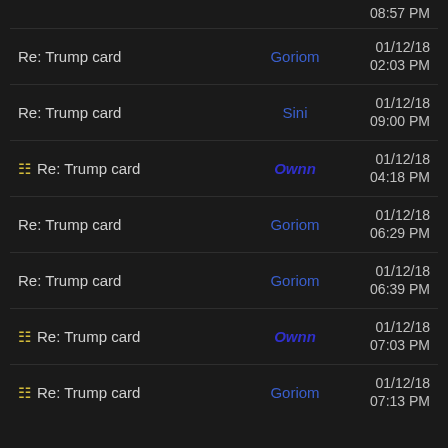08:57 PM
Re: Trump card — Goriom — 01/12/18 02:03 PM
Re: Trump card — Sini — 01/12/18 09:00 PM
[icon] Re: Trump card — Ownn — 01/12/18 04:18 PM
Re: Trump card — Goriom — 01/12/18 06:29 PM
Re: Trump card — Goriom — 01/12/18 06:39 PM
[icon] Re: Trump card — Ownn — 01/12/18 07:03 PM
[icon] Re: Trump card — Goriom — 01/12/18 07:13 PM